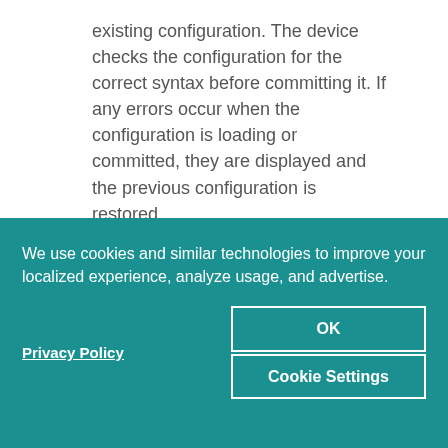existing configuration. The device checks the configuration for the correct syntax before committing it. If any errors occur when the configuration is loading or committed, they are displayed and the previous configuration is restored.
3. Click one:
OK—Saves the configuration and returns to the CLI Editor page.
We use cookies and similar technologies to improve your localized experience, analyze usage, and advertise.
Privacy Policy
OK
Cookie Settings